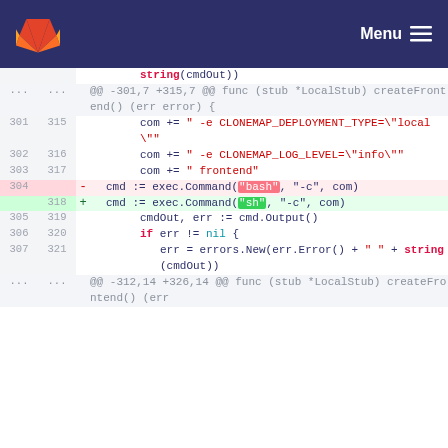GitLab Menu
[Figure (screenshot): Git diff view showing code changes in a Go file. Lines 301-307 (old) and 315-321 (new) are shown. A deleted line (304) shows exec.Command("bash", "-c", com) and an added line (318) shows exec.Command("sh", "-c", com). Hunk headers show @@ -301,7 +315,7 @@ and @@ -312,14 +326,14 @@.]